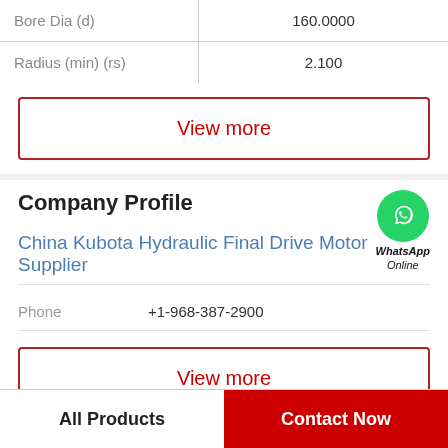| Parameter | Value |
| --- | --- |
| Bore Dia (d) | 160.0000 |
| Radius (min) (rs) | 2.100 |
View more
Company Profile
China Kubota Hydraulic Final Drive Motor Supplier
Phone   +1-968-387-2900
View more
All Products
Contact Now